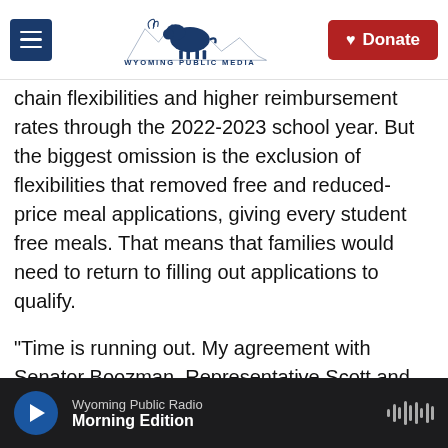Wyoming Public Media — Donate
chain flexibilities and higher reimbursement rates through the 2022-2023 school year. But the biggest omission is the exclusion of flexibilities that removed free and reduced-price meal applications, giving every student free meals. That means that families would need to return to filling out applications to qualify.
"Time is running out. My agreement with Senator Boozman, Representative Scott and Representative Foxx will help keep kids fed and is fully paid for," said Stabenow in a statement. "With 90% of our schools still facing challenges as they
Wyoming Public Radio — Morning Edition